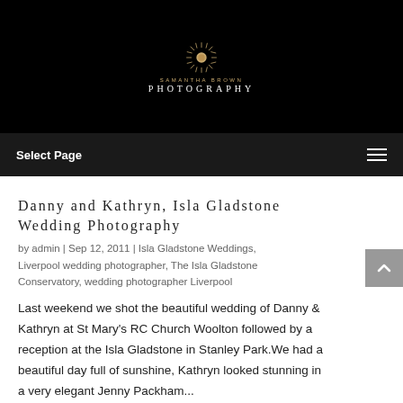[Figure (logo): Samantha Brown Photography logo — golden sunburst icon above text 'SAMANTHA BROWN' and 'PHOTOGRAPHY' on black background]
Select Page
Danny and Kathryn, Isla Gladstone Wedding Photography
by admin | Sep 12, 2011 | Isla Gladstone Weddings, Liverpool wedding photographer, The Isla Gladstone Conservatory, wedding photographer Liverpool
Last weekend we shot the beautiful wedding of Danny & Kathryn at St Mary's RC Church Woolton followed by a reception at the Isla Gladstone in Stanley Park.We had a beautiful day full of sunshine, Kathryn looked stunning in a very elegant Jenny Packham...